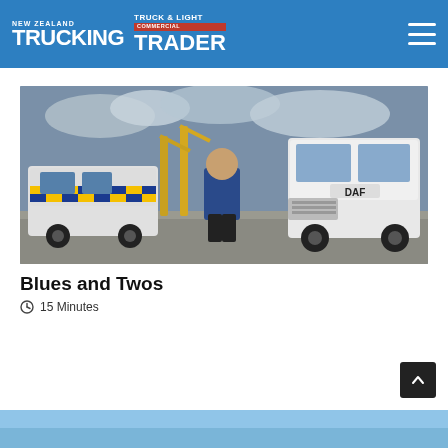NEW ZEALAND TRUCKING | TRUCK & LIGHT COMMERCIAL TRADER
[Figure (photo): A man in a blue shirt and dark trousers stands between a police-liveried Mitsubishi 4x4 (yellow and blue checker pattern) on the left and a white DAF truck on the right, with yellow cranes in the background against a cloudy sky.]
Blues and Twos
15 Minutes
[Figure (photo): Partial thumbnail of a second article image visible at the bottom of the page, showing a light blue sky.]